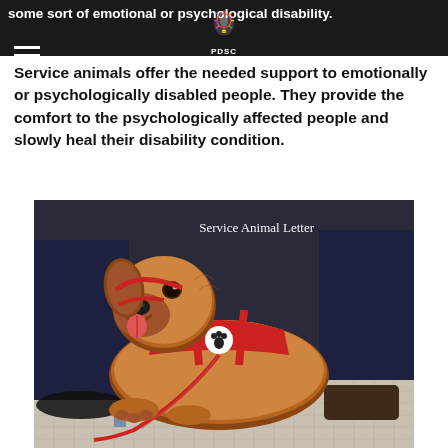some sort of emotional or psychological disability.
Service animals offer the needed support to emotionally or psychologically disabled people. They provide the comfort to the psychologically affected people and slowly heal their disability condition.
[Figure (photo): A golden retriever service dog wearing a red harness with a paw print badge and a red leash, lying on a tiled floor between two people's legs. Text overlay reads 'Service Animal Letter'.]